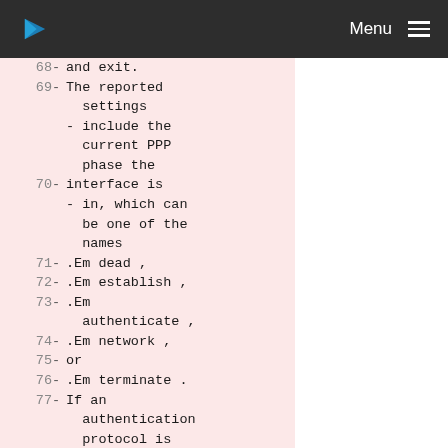Menu
68  - and exit.
69  - The reported settings
     - include the current PPP phase the
70   - interface is
     - in, which can be one of the names
71   - .Em dead ,
72   - .Em establish ,
73   - .Em authenticate ,
74   - .Em network ,
75   - or
76   - .Em terminate .
77   - If an authentication protocol is configured for